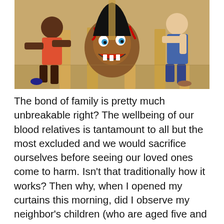[Figure (illustration): Comic book style illustration showing violent scene with figures and a monster/creature impaled on wooden stakes, with blood depicted in graphic comic art style.]
The bond of family is pretty much unbreakable right? The wellbeing of our blood relatives is tantamount to all but the most excluded and we would sacrifice ourselves before seeing our loved ones come to harm. Isn't that traditionally how it works? Then why, when I opened my curtains this morning, did I observe my neighbor's children (who are aged five and